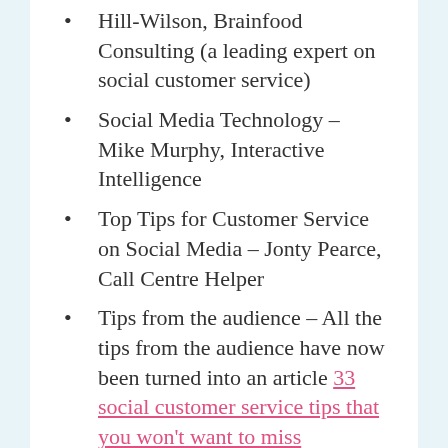Hill-Wilson, Brainfood Consulting (a leading expert on social customer service)
Social Media Technology – Mike Murphy, Interactive Intelligence
Top Tips for Customer Service on Social Media – Jonty Pearce, Call Centre Helper
Tips from the audience – All the tips from the audience have now been turned into an article 33 social customer service tips that you won't want to miss
Winning tip; “Once you have resolved a customer issue (especially in private) ASK for the positive feedback. Many